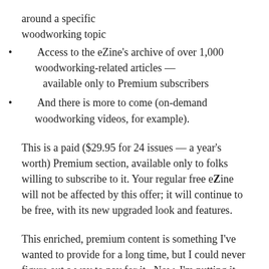around a specific woodworking topic
Access to the eZine's archive of over 1,000 woodworking-related articles — available only to Premium subscribers
And there is more to come (on-demand woodworking videos, for example).
This is a paid ($29.95 for 24 issues — a year's worth) Premium section, available only to folks willing to subscribe to it. Your regular free eZine will not be affected by this offer; it will continue to be free, with its new upgraded look and features.
This enriched, premium content is something I've wanted to provide for a long time, but I could never figure out a way to pay for it.  Now, I'm putting it out there with the hope that eZine readers will be willing to pay for this cool new stuff. And I really think that once you get the chance to see it, you